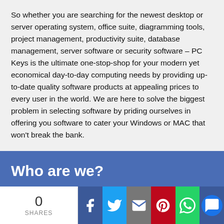So whether you are searching for the newest desktop or server operating system, office suite, diagramming tools, project management, productivity suite, database management, server software or security software – PC Keys is the ultimate one-stop-shop for your modern yet economical day-to-day computing needs by providing up-to-date quality software products at appealing prices to every user in the world. We are here to solve the biggest problem in selecting software by priding ourselves in offering you software to cater your Windows or MAC that won't break the bank.
Who are we?
PC Keys is a site operated by Digital Point Ltd. We are registered in England and Wales under company number 12556846 and have our registered office at International House, 24 Holborn Viaduct, London, England, EC1A 2BN.
07946 666786 / 01444 300321
[Figure (infographic): Social sharing bar with share count (0 SHARES), Facebook, Twitter, Email, Pinterest, WhatsApp, and chat buttons]